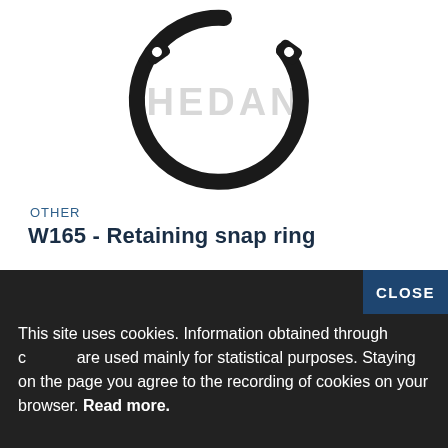[Figure (photo): A retaining snap ring (circlip) shown as a dark/black C-shaped ring with two small holes at the open ends, with 'HEDAN' watermark text in gray overlaid in the center]
OTHER
W165 - Retaining snap ring
This site uses cookies. Information obtained through cookies are used mainly for statistical purposes. Staying on the page you agree to the recording of cookies on your browser. Read more.
CLOSE